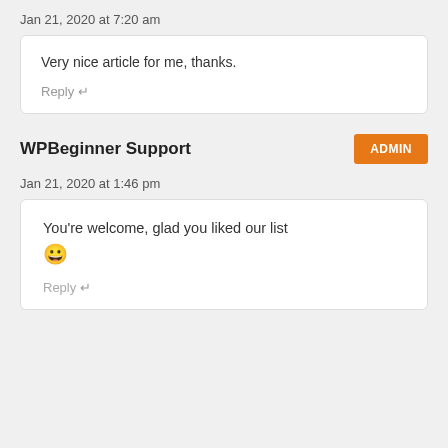Jan 21, 2020 at 7:20 am
Very nice article for me, thanks.
Reply ↵
WPBeginner Support
ADMIN
Jan 21, 2020 at 1:46 pm
You're welcome, glad you liked our list 😀
Reply ↵